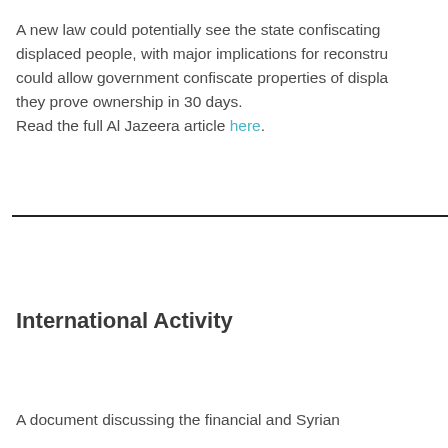A new law could potentially see the state confiscating displaced people, with major implications for reconstruction could allow government confiscate properties of displaced people if they prove ownership in 30 days. Read the full Al Jazeera article here.
International Activity
A document discussing the financial and Syrian...